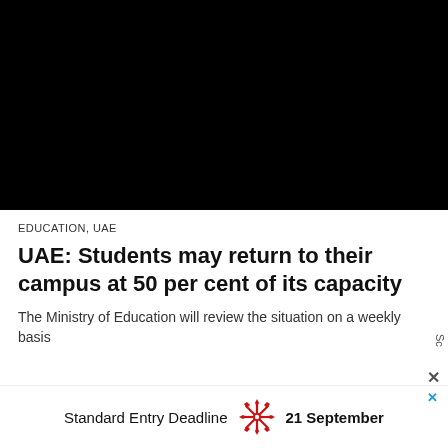[Figure (photo): Black rectangle representing a video or image placeholder area at the top of the article]
EDUCATION, UAE
UAE: Students may return to their campus at 50 per cent of its capacity
The Ministry of Education will review the situation on a weekly basis
[Figure (infographic): Advertisement banner: Standard Entry Deadline with red snowflake/star logo and bold text '21 September']